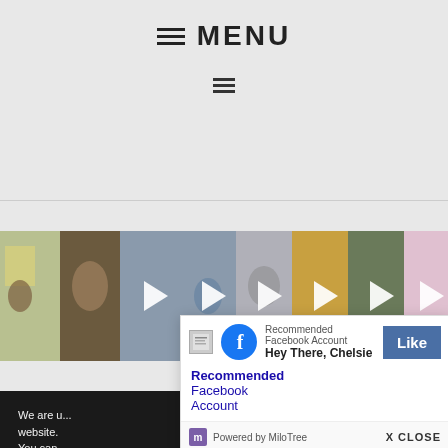≡ MENU
[Figure (screenshot): Row of video thumbnail images with play buttons, showing outdoor/family scenes]
We are u... website. You can switch t...
Acce...
[Figure (screenshot): MiloTree popup overlay: Recommended Facebook Account - Hey There, Chelsie - Like button - Powered by MiloTree - X CLOSE]